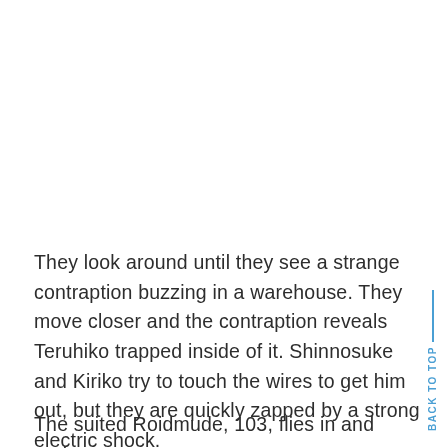They look around until they see a strange contraption buzzing in a warehouse. They move closer and the contraption reveals Teruhiko trapped inside of it. Shinnosuke and Kiriko try to touch the wires to get him out, but they are quickly zapped by a strong electric shock.
The suited Roidmude, 103, flies in and grabs